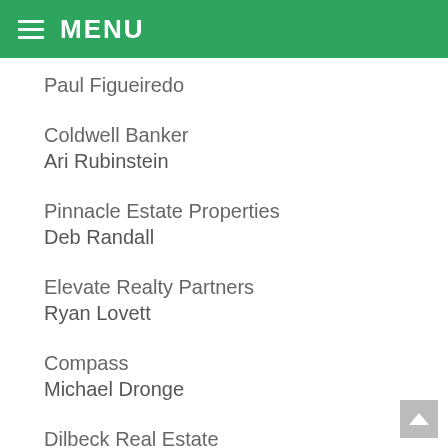MENU
Paul Figueiredo
Coldwell Banker
Ari Rubinstein
Pinnacle Estate Properties
Deb Randall
Elevate Realty Partners
Ryan Lovett
Compass
Michael Dronge
Dilbeck Real Estate
Luke Allen
Century 21 Care